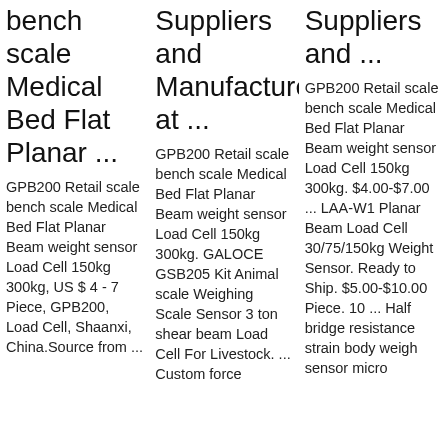bench scale Medical Bed Flat Planar ...
GPB200 Retail scale bench scale Medical Bed Flat Planar Beam weight sensor Load Cell 150kg 300kg, US $ 4 - 7 Piece, GPB200, Load Cell, Shaanxi, China.Source from ...
Suppliers and Manufacturers at ...
GPB200 Retail scale bench scale Medical Bed Flat Planar Beam weight sensor Load Cell 150kg 300kg. GALOCE GSB205 Kit Animal scale Weighing Scale Sensor 3 ton shear beam Load Cell For Livestock. ... Custom force
Suppliers and ...
GPB200 Retail scale bench scale Medical Bed Flat Planar Beam weight sensor Load Cell 150kg 300kg. $4.00-$7.00 ... LAA-W1 Planar Beam Load Cell 30/75/150kg Weight Sensor. Ready to Ship. $5.00-$10.00 Piece. 10 ... Half bridge resistance strain body weigh sensor micro